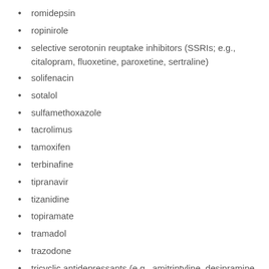romidepsin
ropinirole
selective serotonin reuptake inhibitors (SSRIs; e.g., citalopram, fluoxetine, paroxetine, sertraline)
solifenacin
sotalol
sulfamethoxazole
tacrolimus
tamoxifen
terbinafine
tipranavir
tizanidine
topiramate
tramadol
trazodone
tricyclic antidepressants (e.g., amitriptyline, desipramine, nortriptyline)
trimethoprim